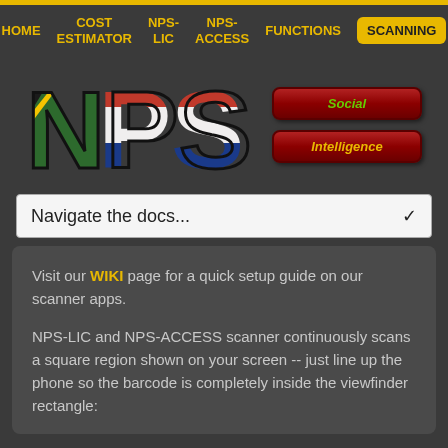HOME | COST ESTIMATOR | NPS-LIC | NPS-ACCESS | FUNCTIONS | SCANNING
[Figure (logo): NPS logo with South African flag colors filling the letters N, P, S, alongside Social and Intelligence red pill buttons]
[Figure (screenshot): Dropdown selector reading 'Navigate the docs...' with chevron]
Visit our WIKI page for a quick setup guide on our scanner apps.

NPS-LIC and NPS-ACCESS scanner continuously scans a square region shown on your screen -- just line up the phone so the barcode is completely inside the viewfinder rectangle: